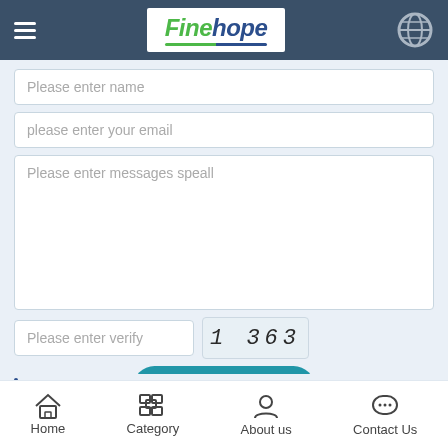Finehope
Please enter name
please enter your email
Please enter messages speall
Please enter verify
1 3 6 3
Contact Us
Other Products
Home  Category  About us  Contact Us